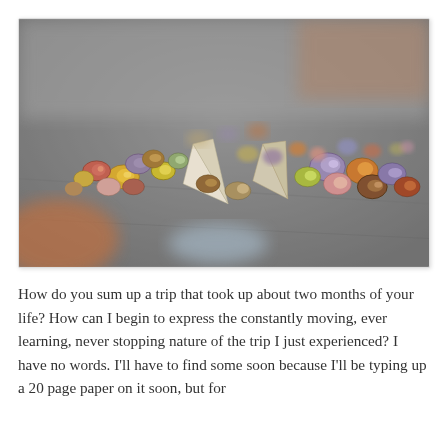[Figure (photo): Close-up photograph of many small colorful spiral seashells and snail shells scattered on a concrete or stone surface. The shells display a variety of colors including yellow, pink, purple, brown, orange, and white. The background is blurred (shallow depth of field).]
How do you sum up a trip that took up about two months of your life? How can I begin to express the constantly moving, ever learning, never stopping nature of the trip I just experienced? I have no words. I'll have to find some soon because I'll be typing up a 20 page paper on it soon, but for